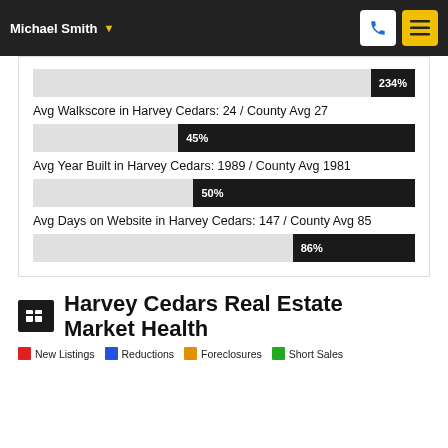Michael Smith
[Figure (bar-chart): Comparative stats bars]
Avg Walkscore in Harvey Cedars: 24 / County Avg 27
Avg Year Built in Harvey Cedars: 1989 / County Avg 1981
Avg Days on Website in Harvey Cedars: 147 / County Avg 85
Harvey Cedars Real Estate Market Health
New Listings  Reductions  Foreclosures  Short Sales